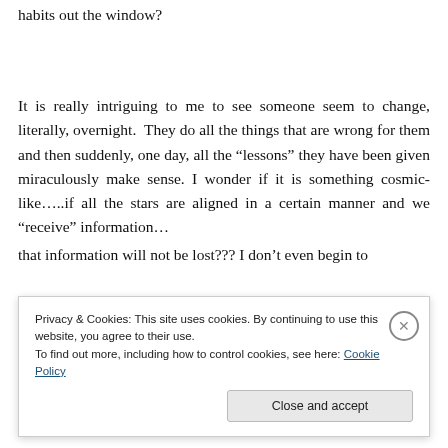habits out the window?
It is really intriguing to me to see someone seem to change, literally, overnight. They do all the things that are wrong for them and then suddenly, one day, all the “lessons” they have been given miraculously make sense. I wonder if it is something cosmic-like…..if all the stars are aligned in a certain manner and we “receive” information…
that information will not be lost??? I don’t even begin to
Privacy & Cookies: This site uses cookies. By continuing to use this website, you agree to their use.
To find out more, including how to control cookies, see here: Cookie Policy
Close and accept